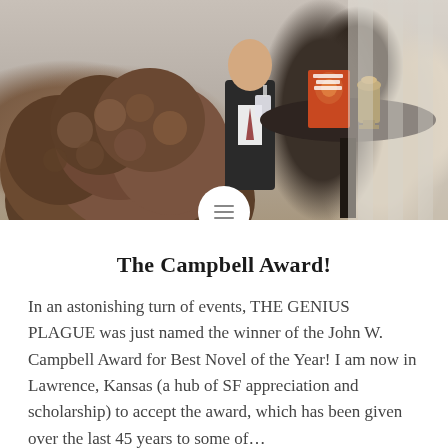[Figure (photo): Photograph showing people at what appears to be an award event. A person with curly hair is visible in the foreground, a standing person in a suit with a conference badge, and a round table with a book titled 'The Genius Plague' by David Walton and an award trophy/sculpture. Curtains in the background.]
The Campbell Award!
In an astonishing turn of events, THE GENIUS PLAGUE was just named the winner of the John W. Campbell Award for Best Novel of the Year!  I am now in Lawrence, Kansas (a hub of SF appreciation and scholarship) to accept the award, which has been given over the last 45 years to some of…
READ MORE